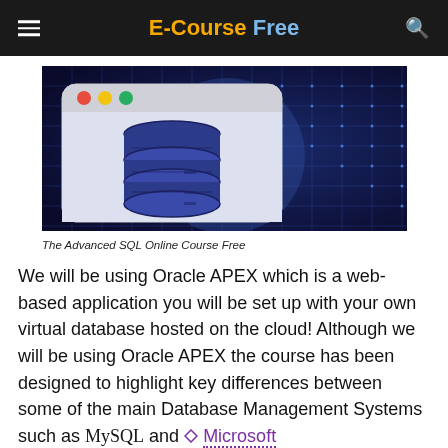E-Course Free
[Figure (illustration): Database icon with three stacked cylinders (representing a database) on a dark blue glowing grid background, inside a rounded-rectangle browser window frame with red, yellow, green traffic light buttons]
The Advanced SQL Online Course Free
We will be using Oracle APEX which is a web-based application you will be set up with your own virtual database hosted on the cloud! Although we will be using Oracle APEX the course has been designed to highlight key differences between some of the main Database Management Systems such as MySQL and ◇ Microsoft